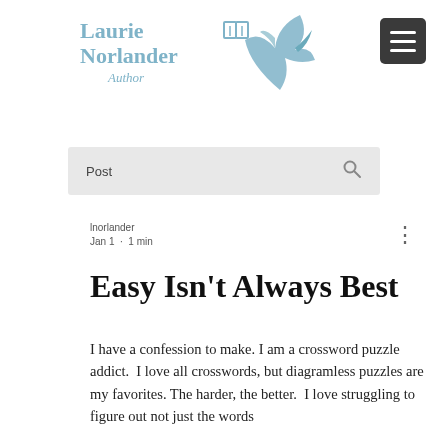[Figure (logo): Laurie Norlander Author logo with decorative bird and book icon in teal/steel blue colors, with a dark hamburger menu button in top right]
Post
lnorlander
Jan 1  ·  1 min
Easy Isn't Always Best
I have a confession to make. I am a crossword puzzle addict.  I love all crosswords, but diagramless puzzles are my favorites. The harder, the better.  I love struggling to figure out not just the words